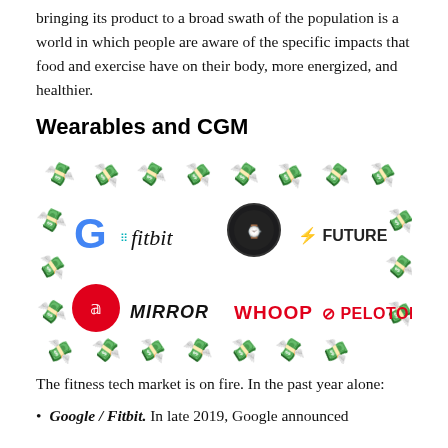bringing its product to a broad swath of the population is a world in which people are aware of the specific impacts that food and exercise have on their body, more energized, and healthier.
Wearables and CGM
[Figure (infographic): A collage of fitness tech company logos (Google/Fitbit, Apple Watch, Future, Lululemon/Mirror, WHOOP, Peloton) surrounded by money bag / cash emoji icons arranged in a border pattern.]
The fitness tech market is on fire. In the past year alone:
Google / Fitbit. In late 2019, Google announced